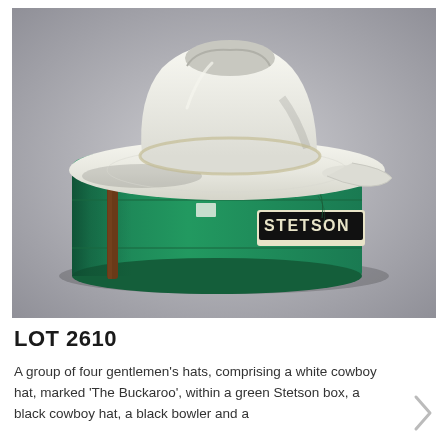[Figure (photo): A white cowboy hat (Stetson 'The Buckaroo') resting on top of a green cylindrical Stetson hat box. The box has a cream and black label reading 'STETSON' on the side, and a brown leather strap. The background is grey-to-white gradient.]
LOT 2610
A group of four gentlemen's hats, comprising a white cowboy hat, marked 'The Buckaroo', within a green Stetson box, a black cowboy hat, a black bowler and a